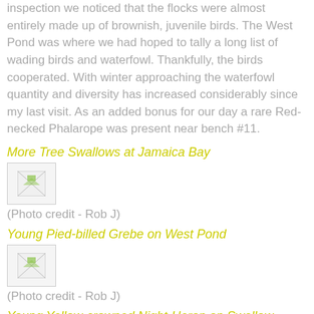inspection we noticed that the flocks were almost entirely made up of brownish, juvenile birds. The West Pond was where we had hoped to tally a long list of wading birds and waterfowl. Thankfully, the birds cooperated. With winter approaching the waterfowl quantity and diversity has increased considerably since my last visit. As an added bonus for our day a rare Red-necked Phalarope was present near bench #11.
More Tree Swallows at Jamaica Bay
[Figure (photo): Broken/missing image placeholder]
(Photo credit - Rob J)
Young Pied-billed Grebe on West Pond
[Figure (photo): Broken/missing image placeholder]
(Photo credit - Rob J)
Young Yellow-crowned Night-Heron on Swallow nestbox
[Figure (photo): Broken/missing image placeholder]
(Photo credit - Rob J)